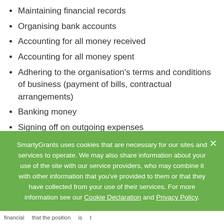Maintaining financial records
Organising bank accounts
Accounting for all money received
Accounting for all money spent
Adhering to the organisation's terms and conditions of business (payment of bills, contractual arrangements)
Banking money
Signing off on outgoing expenses
Preparing monthly/annual financial statements
Preparing books for audit
SmartyGrants uses cookies that are necessary for our sites and services to operate. We may also share information about your use of the site with our service providers, who may combine it with other information that you've provided to them or that they have collected from your use of their services. For more information see our Cookie Declaration and Privacy Policy.
financial ... that the position ... is ... t